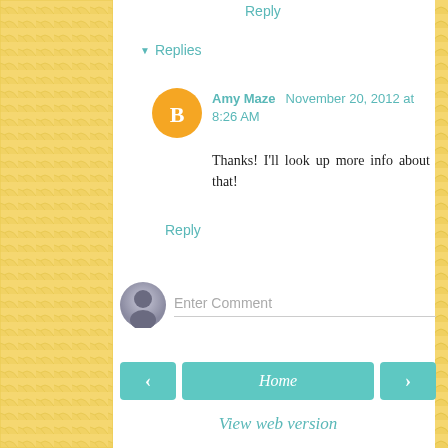Reply
▾ Replies
Amy Maze   November 20, 2012 at 8:26 AM
Thanks! I'll look up more info about that!
Reply
Enter Comment
< Home >
View web version